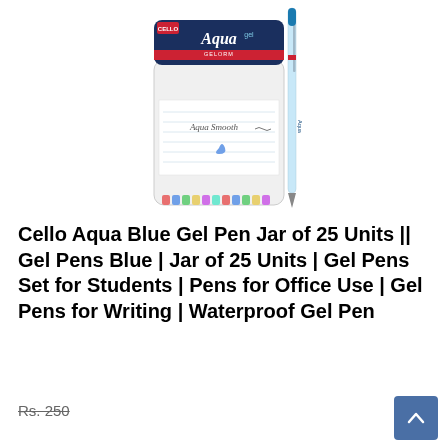[Figure (photo): Cello Aqua Gel pen jar containing 25 gel pens with a single blue gel pen leaning against the jar, showing the product packaging]
Cello Aqua Blue Gel Pen Jar of 25 Units || Gel Pens Blue | Jar of 25 Units | Gel Pens Set for Students | Pens for Office Use | Gel Pens for Writing | Waterproof Gel Pen
Rs. 250